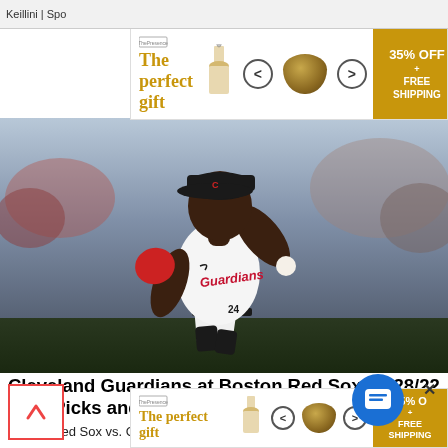Keillini | Spo
[Figure (other): Advertisement banner: 'The perfect gift' with food bowl image, navigation arrows, 35% OFF + FREE SHIPPING offer, close button]
[Figure (photo): Cleveland Guardians baseball pitcher in white uniform winding up to throw a pitch, crowd in background]
Cleveland Guardians at Boston Red Sox - 7/28/22 MLB Picks and Prediction
Boston Red Sox vs. Cleveland Guardians 7/28/22: M
[Figure (other): Bottom advertisement banner: 'The perfect gift' with food bowl image, navigation arrows, 35% OFF + FREE SHIPPING offer]